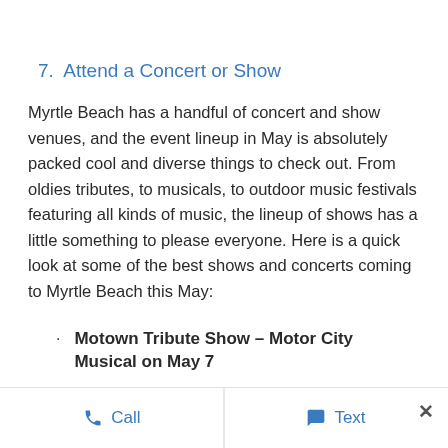7.  Attend a Concert or Show
Myrtle Beach has a handful of concert and show venues, and the event lineup in May is absolutely packed cool and diverse things to check out. From oldies tributes, to musicals, to outdoor music festivals featuring all kinds of music, the lineup of shows has a little something to please everyone. Here is a quick look at some of the best shows and concerts coming to Myrtle Beach this May:
Motown Tribute Show – Motor City Musical on May 7
Call   Text